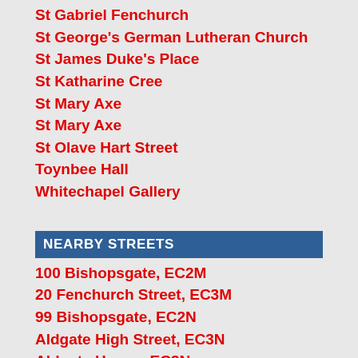St Gabriel Fenchurch
St George's German Lutheran Church
St James Duke's Place
St Katharine Cree
St Mary Axe
St Mary Axe
St Olave Hart Street
Toynbee Hall
Whitechapel Gallery
NEARBY STREETS
100 Bishopsgate, EC2M
20 Fenchurch Street, EC3M
99 Bishopsgate, EC2N
Aldgate High Street, EC3N
Aldgate House, EC3N
Aldgate Square, EC3N